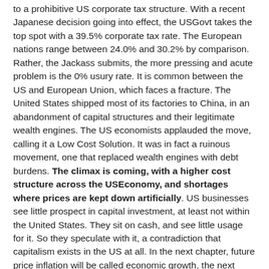to a prohibitive US corporate tax structure. With a recent Japanese decision going into effect, the USGovt takes the top spot with a 39.5% corporate tax rate. The European nations range between 24.0% and 30.2% by comparison. Rather, the Jackass submits, the more pressing and acute problem is the 0% usury rate. It is common between the US and European Union, which faces a fracture. The United States shipped most of its factories to China, in an abandonment of capital structures and their legitimate wealth engines. The US economists applauded the move, calling it a Low Cost Solution. It was in fact a ruinous movement, one that replaced wealth engines with debt burdens. The climax is coming, with a higher cost structure across the USEconomy, and shortages where prices are kept down artificially. US businesses see little prospect in capital investment, at least not within the United States. They sit on cash, and see little usage for it. So they speculate with it, a contradiction that capitalism exists in the US at all. In the next chapter, future price inflation will be called economic growth, the next travesty!!
Look for an increase in empty sections of supermarket